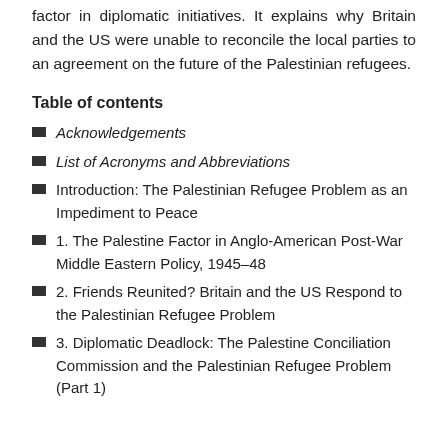factor in diplomatic initiatives. It explains why Britain and the US were unable to reconcile the local parties to an agreement on the future of the Palestinian refugees.
Table of contents
Acknowledgements
List of Acronyms and Abbreviations
Introduction: The Palestinian Refugee Problem as an Impediment to Peace
1. The Palestine Factor in Anglo-American Post-War Middle Eastern Policy, 1945–48
2. Friends Reunited? Britain and the US Respond to the Palestinian Refugee Problem
3. Diplomatic Deadlock: The Palestine Conciliation Commission and the Palestinian Refugee Problem (Part 1)